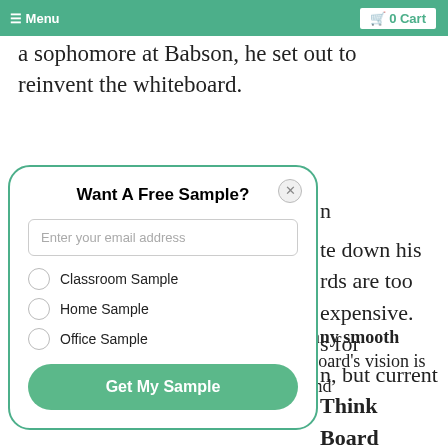≡ Menu   🛒 0 Cart
a sophomore at Babson, he set out to reinvent the whiteboard.
[Figure (screenshot): Modal popup with teal border: 'Want A Free Sample?' heading, email input field, three radio options (Classroom Sample, Home Sample, Office Sample), and a green 'Get My Sample' button. Close button (X) in top right corner.]
te down his rds are too expensive. s for n, but current Think Board
Think Board is a clear film that turns any smooth surface into a dry-erase board. Think Board's vision is to provide students, parents, innovators and entrepreneurs a new thinking